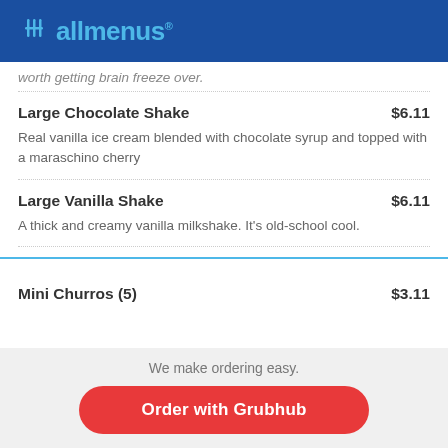allmenus
worth getting brain freeze over.
Large Chocolate Shake $6.11 — Real vanilla ice cream blended with chocolate syrup and topped with a maraschino cherry
Large Vanilla Shake $6.11 — A thick and creamy vanilla milkshake. It's old-school cool.
Mini Churros (5) $3.11
We make ordering easy. Order with Grubhub